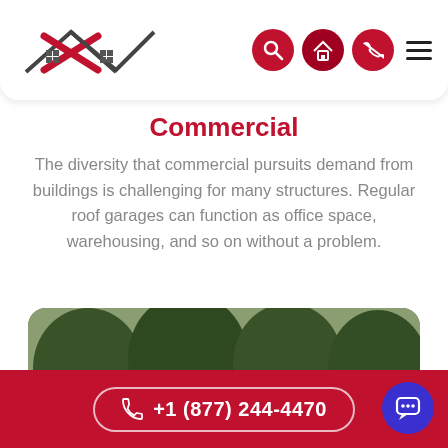[Figure (logo): Company logo with roofline and X shape in dark gray and red, with small house icons]
[Figure (screenshot): Navigation bar with search, home, and phone icons in red circles, plus hamburger menu]
Commercial
The diversity that commercial pursuits demand from buildings is challenging for many structures. Regular roof garages can function as office space, warehousing, and so on without a problem.
[Figure (photo): Photo of a white metal building/garage with red roof trim, surrounded by trees, with a large open garage door]
+1 (877) 244-4470